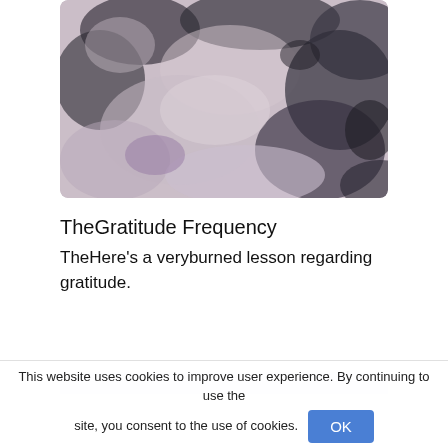[Figure (photo): A close-up photograph of a textured surface with dark smoky/cloudy patterns on a light pinkish-gray background, resembling mineral or crystal texture.]
TheGratitude Frequency
TheHere's a veryburned lesson regarding gratitude.
[Figure (photo): Partially visible image strip at the bottom of the content area, light blue-gray color.]
This website uses cookies to improve user experience. By continuing to use the site, you consent to the use of cookies. OK